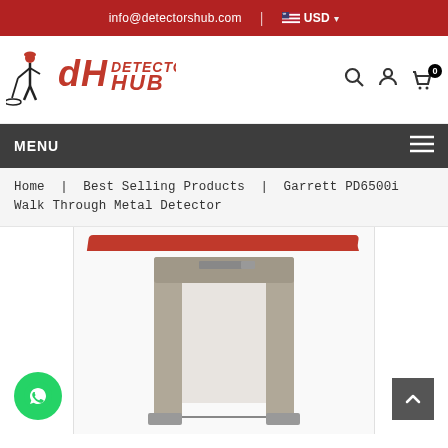info@detectorshub.com  |  USD
[Figure (logo): Detectors Hub logo with stylized DH letters and figure of person with metal detector]
MENU ≡
Home  |  Best Selling Products  |  Garrett PD6500i Walk Through Metal Detector
[Figure (photo): Garrett PD6500i Walk Through Metal Detector — a grey rectangular walk-through metal detector portal frame with red top accent stripe]